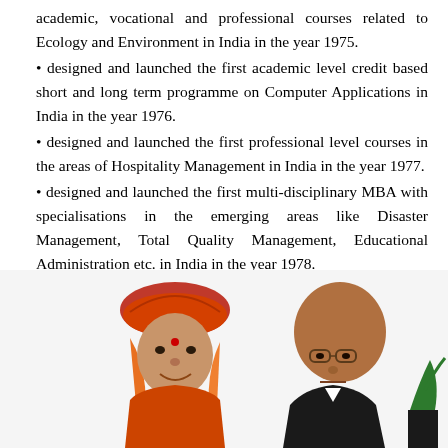academic, vocational and professional courses related to Ecology and Environment in India in the year 1975.
designed and launched the first academic level credit based short and long term programme on Computer Applications in India in the year 1976.
designed and launched the first professional level courses in the areas of Hospitality Management in India in the year 1977.
designed and launched the first multi-disciplinary MBA with specialisations in the emerging areas like Disaster Management, Total Quality Management, Educational Administration etc. in India in the year 1978.
[Figure (photo): Two men photographed together: on the left, a man wearing a red turban and orange scarf; on the right, an older bald man wearing glasses and a dark suit.]